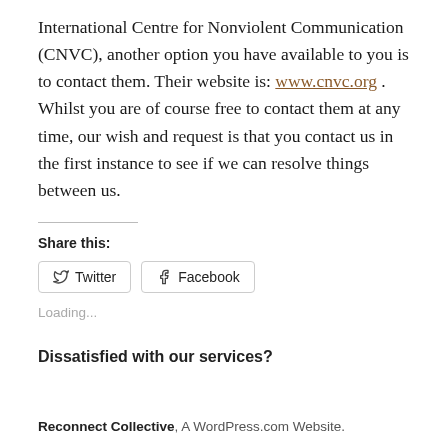International Centre for Nonviolent Communication (CNVC), another option you have available to you is to contact them. Their website is: www.cnvc.org . Whilst you are of course free to contact them at any time, our wish and request is that you contact us in the first instance to see if we can resolve things between us.
Share this:
[Figure (other): Social share buttons: Twitter and Facebook]
Loading...
Dissatisfied with our services?
Reconnect Collective, A WordPress.com Website.